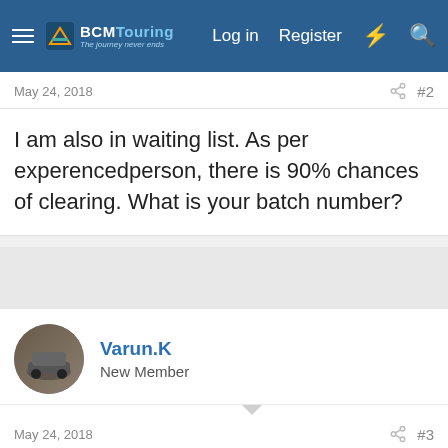BCMTouring — Log in  Register
May 24, 2018  #2
I am also in waiting list. As per experencedperson, there is 90% chances of clearing. What is your batch number?
Varun.K
New Member
May 24, 2018  #3